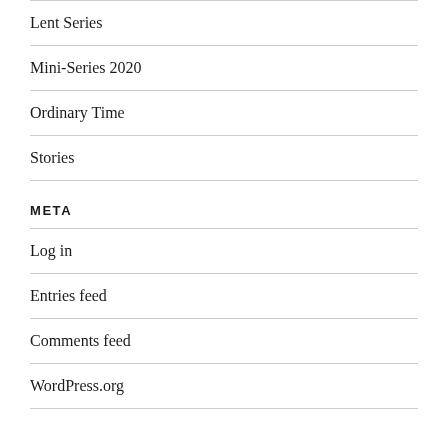Lent Series
Mini-Series 2020
Ordinary Time
Stories
META
Log in
Entries feed
Comments feed
WordPress.org